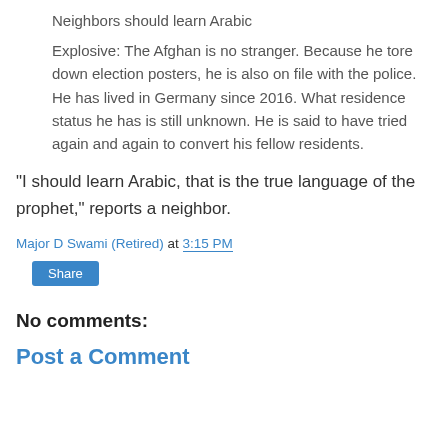Neighbors should learn Arabic
Explosive: The Afghan is no stranger. Because he tore down election posters, he is also on file with the police. He has lived in Germany since 2016. What residence status he has is still unknown. He is said to have tried again and again to convert his fellow residents.
“I should learn Arabic, that is the true language of the prophet,” reports a neighbor.
Major D Swami (Retired) at 3:15 PM
Share
No comments:
Post a Comment